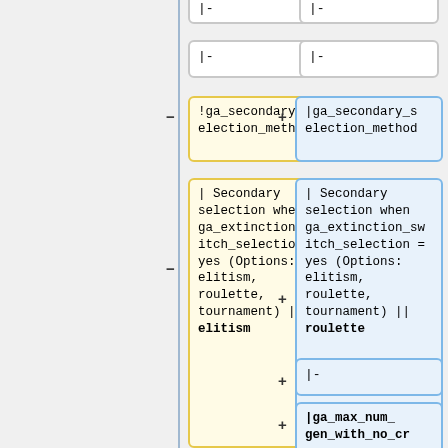[Figure (flowchart): Diff view of a configuration file showing two columns of code/wiki markup boxes. Left column (yellow border) shows old values, right column (blue border) shows new values. Boxes show: '|-' separators, '!ga_secondary_selection_method' header row, a description box with '| Secondary selection when ga_extinction_switch_selection = yes (Options: elitism, roulette, tournament) || elitism' (left, yellow) vs 'roulette' (right, blue), then additional right-column boxes for '|-', '|ga_max_num_gen_with_no_crossover', and '|The max generation of allowable'.]